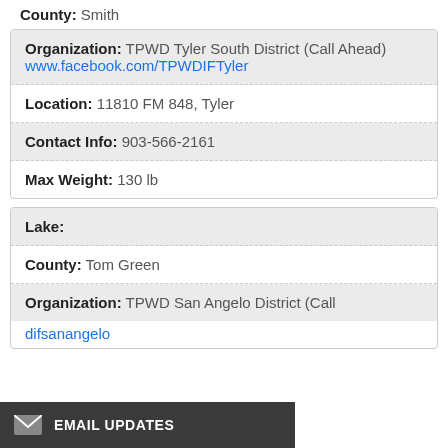County: Smith
Organization: TPWD Tyler South District (Call Ahead)
www.facebook.com/TPWDIFTyler
Location: 11810 FM 848, Tyler
Contact Info: 903-566-2161
Max Weight: 130 lb
Lake:
County: Tom Green
Organization: TPWD San Angelo District (Call
difsanangelo
EMAIL UPDATES